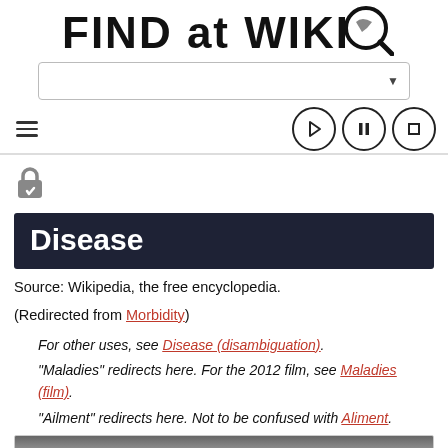FIND at WIKI (logo)
[Figure (screenshot): Search dropdown bar with arrow]
[Figure (screenshot): Hamburger menu icon and media control buttons (play, pause, stop)]
[Figure (screenshot): Lock/shield icon]
Disease
Source: Wikipedia, the free encyclopedia.
(Redirected from Morbidity)
For other uses, see Disease (disambiguation).
"Maladies" redirects here. For the 2012 film, see Maladies (film).
"Ailment" redirects here. Not to be confused with Aliment.
[Figure (photo): Partial photo visible at bottom of page]